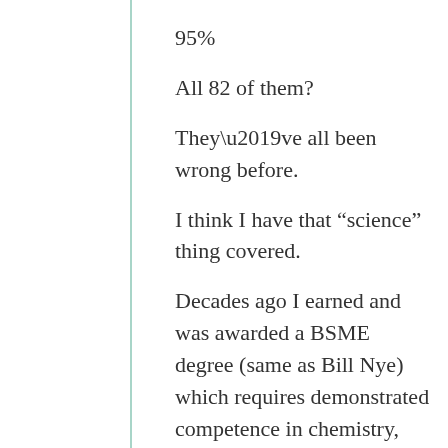95%
All 82 of them?
They’ve all been wrong before.
I think I have that “science” thing covered.
Decades ago I earned and was awarded a BSME degree (same as Bill Nye) which requires demonstrated competence in chemistry, physics, heat transfer, thermodynamics, fluid